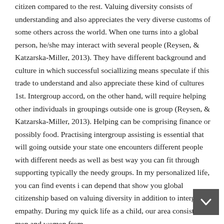citizen compared to the rest. Valuing diversity consists of understanding and also appreciates the very diverse customs of some others across the world. When one turns into a global person, he/she may interact with several people (Reysen, & Katzarska-Miller, 2013). They have different background and culture in which successful sociallizing means speculate if this trade to understand and also appreciate these kind of cultures 1st. Intergroup accord, on the other hand, will require helping other individuals in groupings outside one is group (Reysen, & Katzarska-Miller, 2013). Helping can be comprising finance or possibly food. Practising intergroup assisting is essential that will going outside your state one encounters different people with different needs as well as best way you can fit through supporting typically the needy groups. In my personalized life, you can find events i can depend that show you global citizenship based on valuing diversity in addition to intergroup empathy. During my quick life as a child, our area consists of men and women from